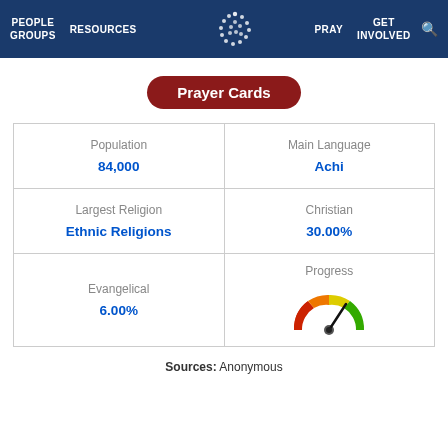PEOPLE GROUPS  RESOURCES  PRAY  GET INVOLVED
Prayer Cards
|  |  |
| --- | --- |
| Population
84,000 | Main Language
Achi |
| Largest Religion
Ethnic Religions | Christian
30.00% |
| Evangelical
6.00% | Progress [gauge] |
Sources:  Anonymous
[Figure (other): Semicircular gauge/speedometer showing progress level, colored red to green from left to right, with needle pointing near center-right (moderate progress).]